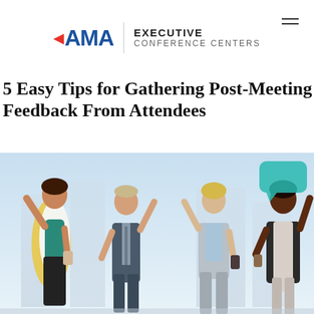AMA EXECUTIVE CONFERENCE CENTERS
5 Easy Tips for Gathering Post-Meeting Feedback From Attendees
Posted on March 4, 2019April 29, 2019 by Editor
[Figure (photo): Four business professionals standing outdoors with arms raised in celebration; includes a teal speech bubble graphic in the upper right corner]